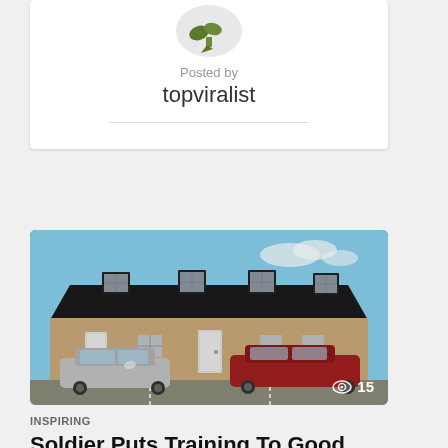[Figure (logo): Small green tree/bird logo icon for topviralist]
Posted by
topviralist
[Figure (photo): Exterior photo of a two-story apartment building with black mansard roof, multiple white-framed dormer windows, beige/tan lower walls with white doors, and cars parked in front including a silver sedan and a red car. A view count overlay shows an eye icon and the number 15.]
INSPIRING
Soldier Puts Training To Good Use When Wife Is Held At Gunpoint